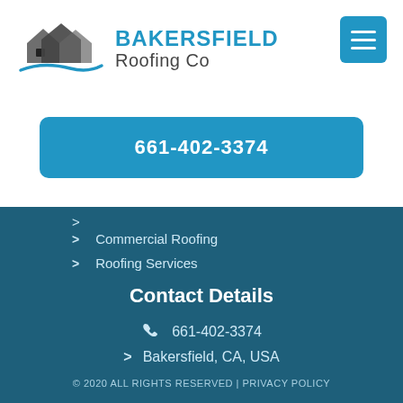[Figure (logo): Bakersfield Roofing Co logo with house/roof icon and company name]
[Figure (other): Hamburger menu button (three horizontal lines) in blue square]
661-402-3374
Commercial Roofing
Roofing Services
Contact Details
661-402-3374
Bakersfield, CA, USA
© 2020 ALL RIGHTS RESERVED | PRIVACY POLICY